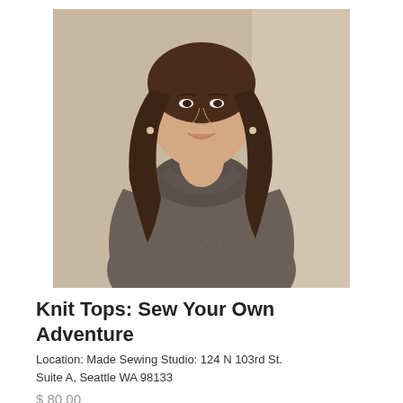[Figure (photo): A smiling woman with long dark wavy hair, wearing a grey cowl-neck knit top, posing with hand on hip against a light beige/tan background.]
Knit Tops: Sew Your Own Adventure
Location: Made Sewing Studio: 124 N 103rd St. Suite A, Seattle WA 98133
$ 80.00